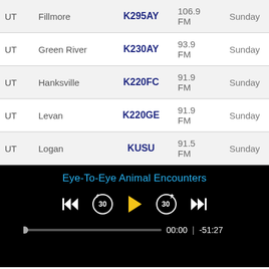| State | City | Call Sign | Frequency | Day |
| --- | --- | --- | --- | --- |
| UT | Fillmore | K295AY | 106.9 FM | Sunday |
| UT | Green River | K230AY | 93.9 FM | Sunday |
| UT | Hanksville | K220FC | 91.9 FM | Sunday |
| UT | Levan | K220GE | 91.9 FM | Sunday |
| UT | Logan | KUSU | 91.5 FM | Sunday |
[Figure (screenshot): Audio/video player UI on black background. Title reads 'Eye-To-Eye Animal Encounters'. Controls include skip-back, 30-second rewind, play button (yellow triangle), 30-second forward, and skip-forward. Progress bar shows 00:00 with remaining time -51:27.]